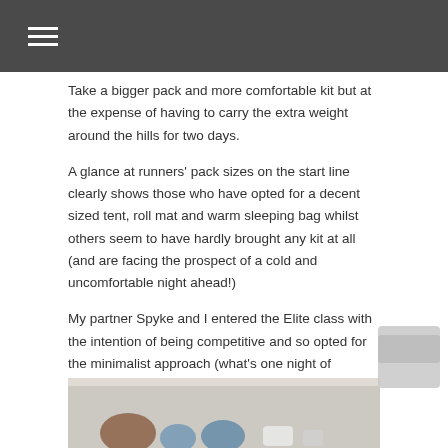Take a bigger pack and more comfortable kit but at the expense of having to carry the extra weight around the hills for two days.
A glance at runners' pack sizes on the start line clearly shows those who have opted for a decent sized tent, roll mat and warm sleeping bag whilst others seem to have hardly brought any kit at all (and are facing the prospect of a cold and uncomfortable night ahead!)
My partner Spyke and I entered the Elite class with the intention of being competitive and so opted for the minimalist approach (what's one night of discomfort between friends?) aiming to limit the amount of weight carried as far as reasonably possible.
The weather forecast for the event was for bitterly cold northerly winds with possible snow showers which had some bearing on my kit choice. Here is a breakdown of the equipment I carried with some explanations of my choices.
[Figure (photo): Photo of outdoor gear/equipment laid out on a surface, partially visible at the bottom of the page.]